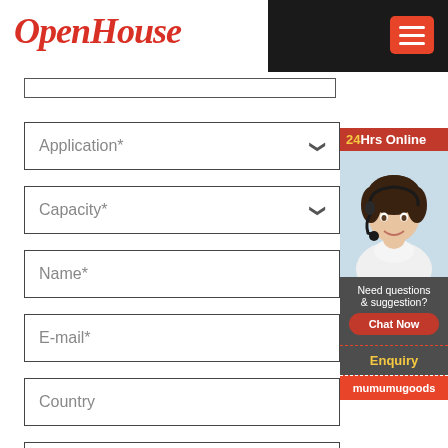OpenHouse
Application*
Capacity*
Name*
E-mail*
Country
Tel
[Figure (photo): 24Hrs Online customer service representative with headset, with chat widget showing 'Need questions & suggestion?', 'Chat Now' button, 'Enquiry' link, and 'mumumugoods' text]